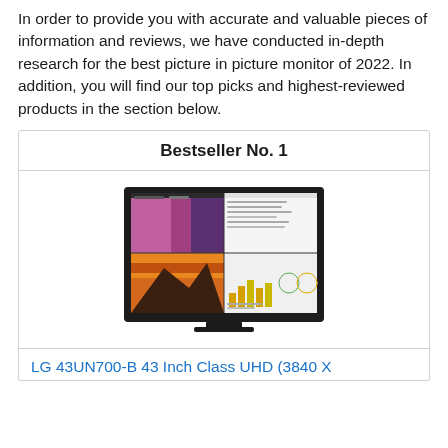In order to provide you with accurate and valuable pieces of information and reviews, we have conducted in-depth research for the best picture in picture monitor of 2022. In addition, you will find our top picks and highest-reviewed products in the section below.
Bestseller No. 1
[Figure (photo): LG monitor showing picture-in-picture mode with four quadrants displaying different content including photo editing software and charts]
LG 43UN700-B 43 Inch Class UHD (3840 X